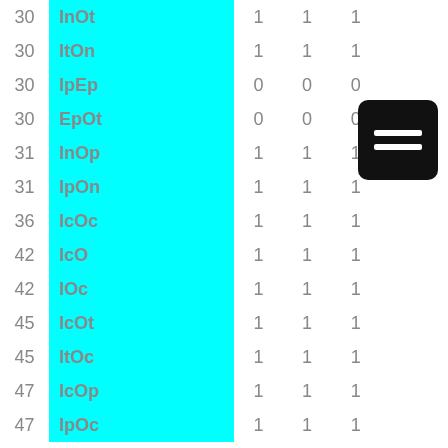|  |  |  |  |  |
| --- | --- | --- | --- | --- |
| 30 | InOt | 1 | 1 | 1 |
| 30 | ItOn | 1 | 1 | 1 |
| 30 | IpEp | 0 | 0 | 0 |
| 30 | EpOt | 0 | 0 | 0 |
| 31 | InOp | 1 | 1 | 1 |
| 31 | IpOn | 1 | 1 | 1 |
| 36 | IcOc | 1 | 1 | 1 |
| 42 | IcO | 1 | 1 | 1 |
| 42 | IOc | 1 | 1 | 1 |
| 45 | IcOt | 1 | 1 | 1 |
| 45 | ItOc | 1 | 1 | 1 |
| 47 | IcOp | 1 | 1 | 1 |
| 47 | IpOc | 1 | 1 | 1 |
[Figure (other): A black rounded rectangle icon with three white horizontal lines (hamburger/menu icon)]